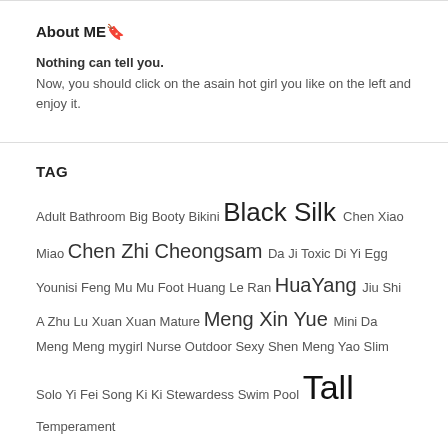About ME🔖
Nothing can tell you.
Now, you should click on the asain hot girl you like on the left and enjoy it.
TAG
Adult Bathroom Big Booty Bikini Black Silk Chen Xiao Miao Chen Zhi Cheongsam Da Ji Toxic Di Yi Egg Younisi Feng Mu Mu Foot Huang Le Ran HuaYang Jiu Shi A Zhu Lu Xuan Xuan Mature Meng Xin Yue Mini Da Meng Meng mygirl Nurse Outdoor Sexy Shen Meng Yao Slim Solo Yi Fei Song Ki Ki Stewardess Swim Pool Tall Temperament